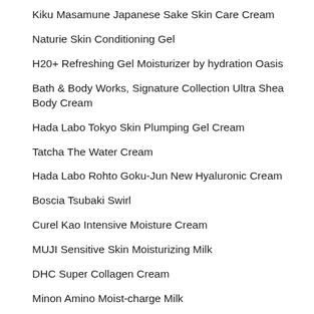Kiku Masamune Japanese Sake Skin Care Cream
Naturie Skin Conditioning Gel
H20+ Refreshing Gel Moisturizer by hydration Oasis
Bath & Body Works, Signature Collection Ultra Shea Body Cream
Hada Labo Tokyo Skin Plumping Gel Cream
Tatcha The Water Cream
Hada Labo Rohto Goku-Jun New Hyaluronic Cream
Boscia Tsubaki Swirl
Curel Kao Intensive Moisture Cream
MUJI Sensitive Skin Moisturizing Milk
DHC Super Collagen Cream
Minon Amino Moist-charge Milk